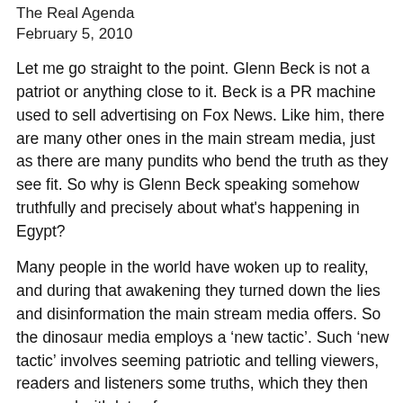The Real Agenda
February 5, 2010
Let me go straight to the point. Glenn Beck is not a patriot or anything close to it. Beck is a PR machine used to sell advertising on Fox News. Like him, there are many other ones in the main stream media, just as there are many pundits who bend the truth as they see fit. So why is Glenn Beck speaking somehow truthfully and precisely about what's happening in Egypt?
Many people in the world have woken up to reality, and during that awakening they turned down the lies and disinformation the main stream media offers. So the dinosaur media employs a ‘new tactic’. Such ‘new tactic’ involves seeming patriotic and telling viewers, readers and listeners some truths, which they then surround with lots of